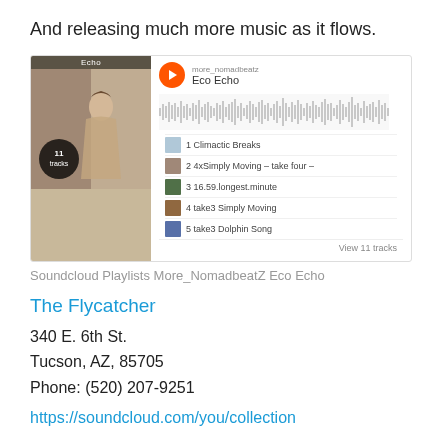And releasing much more music as it flows.
[Figure (screenshot): SoundCloud embedded playlist widget for 'Eco Echo' by more_nomadbeatz showing album art with '11 tracks' badge, waveform, and tracklist including: 1 Climactic Breaks, 2 4xSimply Moving – take four –, 3 16.59.longest.minute, 4 take3 Simply Moving, 5 take3 Dolphin Song, with 'View 11 tracks' link]
Soundcloud Playlists More_NomadbeatZ Eco Echo
The Flycatcher
340 E. 6th St.
Tucson, AZ, 85705
Phone: (520) 207-9251
https://soundcloud.com/you/collection